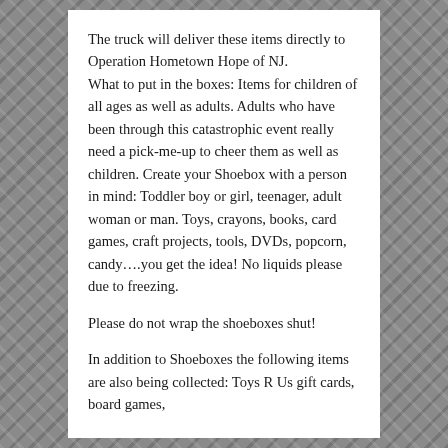The truck will deliver these items directly to Operation Hometown Hope of NJ. What to put in the boxes: Items for children of all ages as well as adults. Adults who have been through this catastrophic event really need a pick-me-up to cheer them as well as children. Create your Shoebox with a person in mind: Toddler boy or girl, teenager, adult woman or man. Toys, crayons, books, card games, craft projects, tools, DVDs, popcorn, candy….you get the idea! No liquids please due to freezing.
Please do not wrap the shoeboxes shut!
In addition to Shoeboxes the following items are also being collected: Toys R Us gift cards, board games,